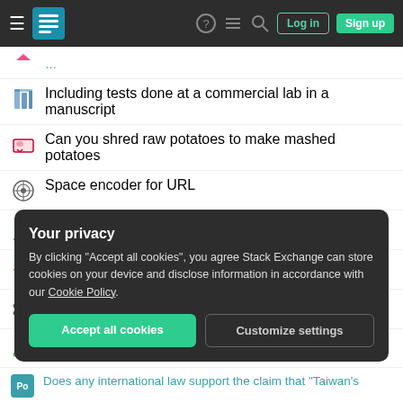Stack Exchange navigation bar with Log in and Sign up buttons
Including tests done at a commercial lab in a manuscript
Can you shred raw potatoes to make mashed potatoes
Space encoder for URL
A rule for when phase-space orbits may cross
Fed Up: A Word Puzzle
What is a "formal" dimer?
Regular languages that seem irregular
"Regions where pain and delight flow together and tears are the very wine of blessedness"?
Your privacy

By clicking "Accept all cookies", you agree Stack Exchange can store cookies on your device and disclose information in accordance with our Cookie Policy.
Does any international law support the claim that "Taiwan's